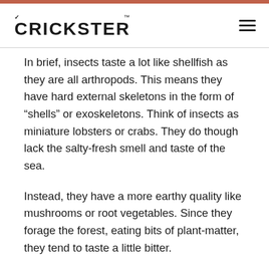CRICKSTER
In brief, insects taste a lot like shellfish as they are all arthropods. This means they have hard external skeletons in the form of “shells” or exoskeletons. Think of insects as miniature lobsters or crabs. They do though lack the salty-fresh smell and taste of the sea.
Instead, they have a more earthy quality like mushrooms or root vegetables. Since they forage the forest, eating bits of plant-matter, they tend to taste a little bitter.
Besides, some edible insects have a higher